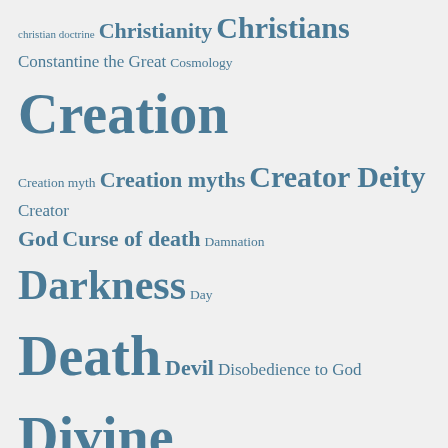[Figure (infographic): Tag cloud / word cloud of theological and religious terms related to Christianity and creation, displayed in varying font sizes indicating frequency or importance. Terms include: christian doctrine, Christianity, Christians, Constantine the Great, Cosmology, Creation, Creation myth, Creation myths, Creator Deity, Creator God, Curse of death, Damnation, Darkness, Day, Death, Devil, Disobedience to God, Divine Creator, Divine Maker, Doctrine, Dogma, Dogmatic teachings, Doing Will of God, Dust, Early Christians, Earth, Elohim, Elohim Hashem Jehovah, Enmity, Eternal Spirit, God, Evangelist John, Eve, Evil, Evolution, Existence of God, Faith, Faith in Jesus Christ, Fall of man, Father of lies, Female, Followers of Jesus Christ, Food, Free choice, Garden of Eden, Generations, Genesis, Gentiles, Glory of God, God's Commandments, God's Force, God's glory, God's]